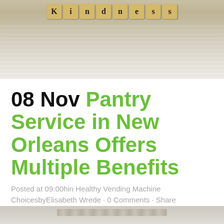[Figure (photo): Scrabble-style wooden letter tiles spelling 'Kindness' on a whitewashed wooden surface]
08 Nov Pantry Service in New Orleans Offers Multiple Benefits
Posted at 09:00hin Healthy Vending Machine ChoicesbyElisabeth Wrede · 0 Comments · Share
[Figure (photo): Partial bottom image showing a wooden or textured surface]